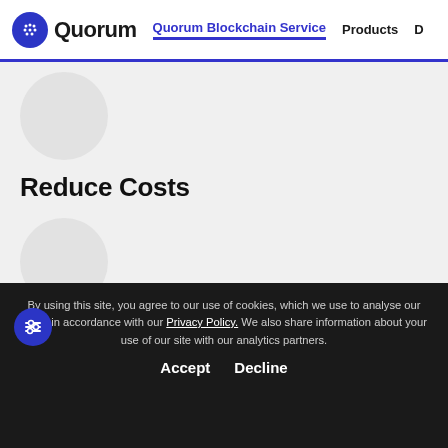Quorum | Quorum Blockchain Service | Products | D
[Figure (illustration): Gray circular icon placeholder (first)]
Reduce Costs
[Figure (illustration): Gray circular icon placeholder (second)]
Increase Speed-to-Market
[Figure (illustration): Gray circular icon placeholder (third, partially visible)]
By using this site, you agree to our use of cookies, which we use to analyse our traffic in accordance with our Privacy Policy. We also share information about your use of our site with our analytics partners.
Accept   Decline
Quick to consortium